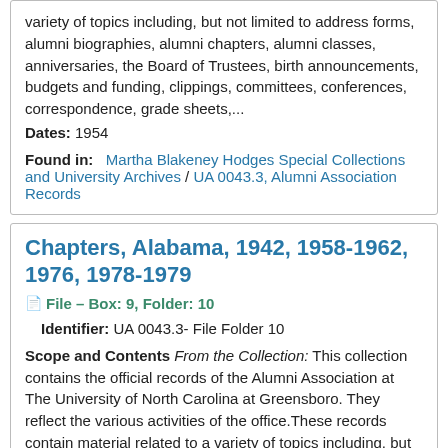variety of topics including, but not limited to address forms, alumni biographies, alumni chapters, alumni classes, anniversaries, the Board of Trustees, birth announcements, budgets and funding, clippings, committees, conferences, correspondence, grade sheets,...
Dates: 1954
Found in: Martha Blakeney Hodges Special Collections and University Archives / UA 0043.3, Alumni Association Records
Chapters, Alabama, 1942, 1958-1962, 1976, 1978-1979
File — Box: 9, Folder: 10
Identifier: UA 0043.3- File Folder 10
Scope and Contents From the Collection: This collection contains the official records of the Alumni Association at The University of North Carolina at Greensboro. They reflect the various activities of the office.These records contain material related to a variety of topics including, but not limited to address